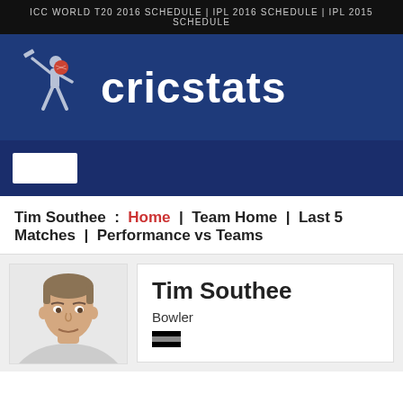ICC WORLD T20 2016 SCHEDULE | IPL 2016 SCHEDULE | IPL 2015 SCHEDULE
[Figure (logo): Cricstats logo: cricket player silhouette with bat, red cricket ball, and 'cricstats' text in white on dark blue background]
[Figure (other): Navigation bar with a white rectangular button on dark blue background]
Tim Southee : Home | Team Home | Last 5 Matches | Performance vs Teams
Tim Southee
Bowler
[Figure (photo): Photo of Tim Southee, a cricket bowler, partial head and shoulders visible]